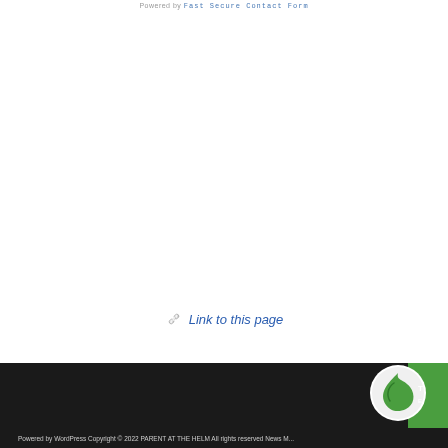Powered by Fast Secure Contact Form
Link to this page
Powered by WordPress Copyright © 2022 PARENT AT THE HELM All rights reserved News M...